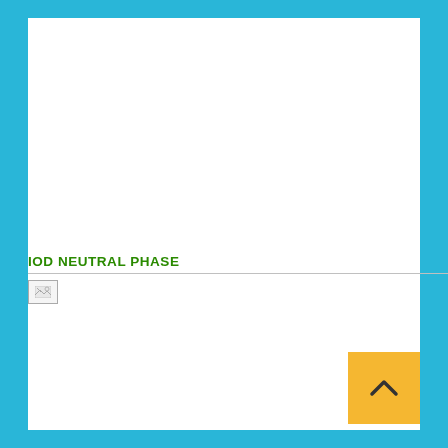IOD NEUTRAL PHASE
[Figure (other): Broken/missing image placeholder below the IOD Neutral Phase section header]
[Figure (other): Yellow navigation button with upward chevron arrow in bottom right corner]